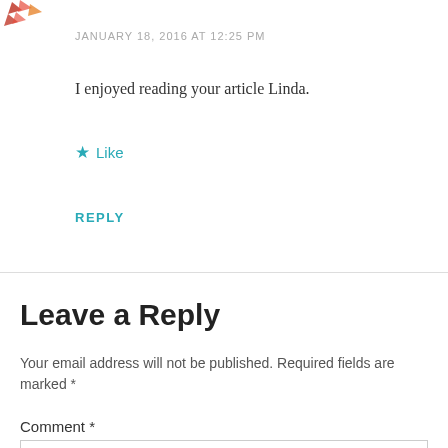[Figure (logo): Partial decorative icon with red and orange leaf/arrow shapes, cropped at top-left corner]
JANUARY 18, 2016 AT 12:25 PM
I enjoyed reading your article Linda.
★ Like
REPLY
Leave a Reply
Your email address will not be published. Required fields are marked *
Comment *